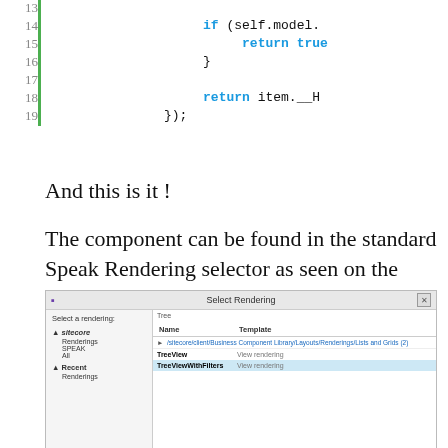[Figure (screenshot): Code snippet showing lines 13-19 with if/return statements in a syntax-highlighted code editor style]
And this is it !
The component can be found in the standard Speak Rendering selector as seen on the screenshot bellow
[Figure (screenshot): Screenshot of a 'Select Rendering' dialog box showing a tree on the left with Renderings, SPEAK, All, Recent, Renderings nodes, and on the right a list with Name and Template columns showing TreeView and TreeViewWithFilters items]